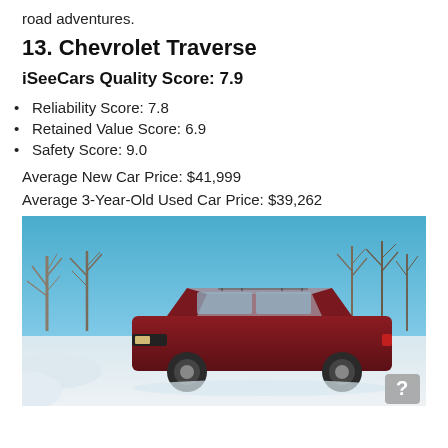road adventures.
13. Chevrolet Traverse
iSeeCars Quality Score: 7.9
Reliability Score: 7.8
Retained Value Score: 6.9
Safety Score: 9.0
Average New Car Price: $41,999
Average 3-Year-Old Used Car Price: $39,262
[Figure (photo): A dark red Chevrolet Traverse SUV parked in a snowy outdoor scene with bare trees and a blue sky in the background.]